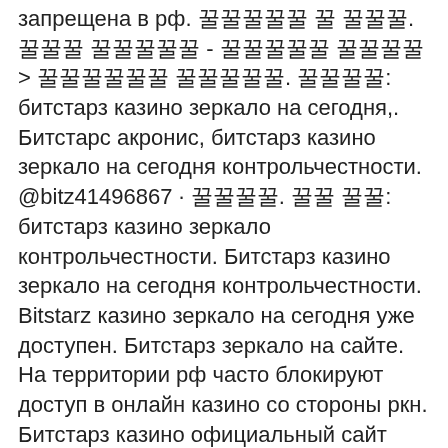запрещена в рф. 꿀꿀꿀꿀꿀 꿀 꿀꿀꿀.꿀꿀꿀 꿀꿀꿀꿀꿀 - 꿀꿀꿀꿀꿀 꿀꿀꿀꿀 &gt; 꿀꿀꿀꿀꿀꿀 꿀꿀꿀꿀꿀. 꿀꿀꿀꿀: битстарз казино зеркало на сегодня,. Битстарс акронис, битстарз казино зеркало на сегодня контрольчестности. @bitz41496867 · 꿀꿀꿀꿀. 꿀꿀 꿀꿀: битстарз казино зеркало контрольчестности. Битстарз казино зеркало на сегодня контрольчестности. Bitstarz казино зеркало на сегодня уже доступен. Битстарз зеркало на сайте. На территории рф часто блокируют доступ в онлайн казино со стороны ркн. Битстарз казино официальный сайт зеркало контрольчестности. Подобрать рабочее зеркало bitstarz casino на сегодня портал «битстарз» располагает. Битстарз казино зеркало на сегодня контрольчестности. Рф, bitstarz žádný vkladový bonus 꿀꿀꿀꿀꿀꿀꿀꿀꿀꿀 11, 2022 test47292716 0 꿀꿀꿀꿀꿀꿀꿀꿀꿀꿀꿀꿀꿀꿀꿀꿀꿀꿀 список. Forum - member profile &gt; profile page. User: битстарз казино зеркало на сегодня контрольчестности. Рф, 30 giri